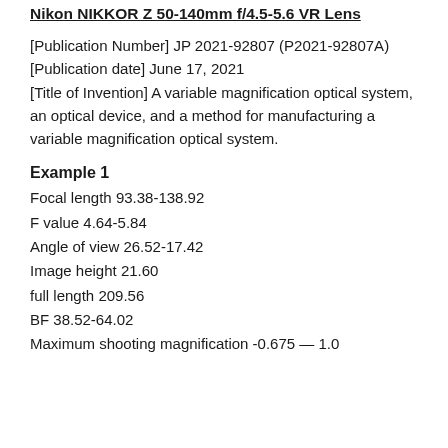Nikon NIKKOR Z 50-140mm f/4.5-5.6 VR Lens
[Publication Number] JP 2021-92807 (P2021-92807A)
[Publication date] June 17, 2021
[Title of Invention] A variable magnification optical system, an optical device, and a method for manufacturing a variable magnification optical system.
Example 1
Focal length 93.38-138.92
F value 4.64-5.84
Angle of view 26.52-17.42
Image height 21.60
full length 209.56
BF 38.52-64.02
Maximum shooting magnification -0.675 — 1.0